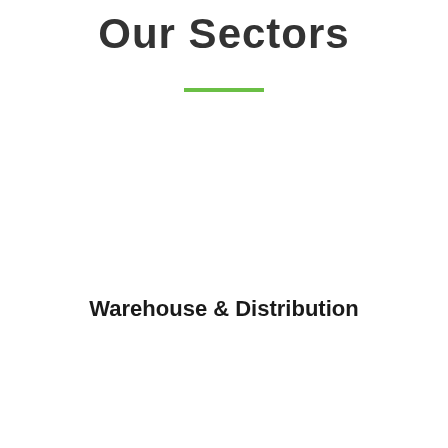Our Sectors
Warehouse & Distribution